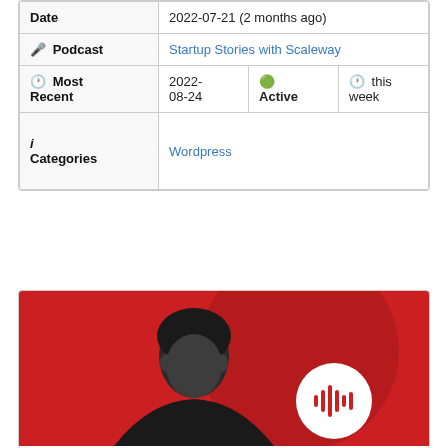| Field | Value |
| --- | --- |
| Date | 2022-07-21 (2 months ago) |
| 🎙 Podcast | Startup Stories with Scaleway |
| 🕐 Most Recent | 2022-08-24 | 🟢 Active | 🕐 this week |
| ℹ Categories | Wordpress |
[Figure (photo): Podcast promotional image with red background, showing a person and a white circle with podcast audio wave icon]